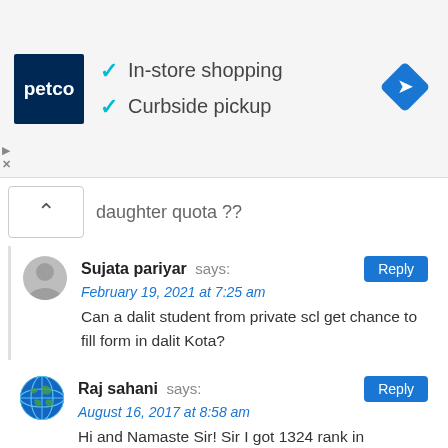[Figure (infographic): Petco advertisement banner showing Petco logo with checkmarks for In-store shopping and Curbside pickup, and a blue navigation/directions diamond icon on the right]
daughter quota ??
Sujata pariyar says:
February 19, 2021 at 7:25 am
Can a dalit student from private scl get chance to fill form in dalit Kota?
Raj sahani says:
August 16, 2017 at 8:58 am
Hi and Namaste Sir! Sir I got 1324 rank in entrance exam. I want to study ECE in Pulchowk campus in regular. I knew its very difficult to get admission in Pulchowk But I